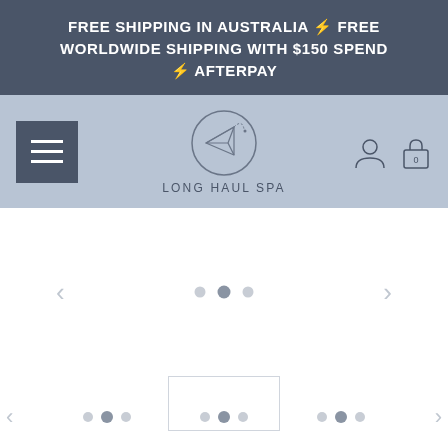FREE SHIPPING IN AUSTRALIA ⚡ FREE WORLDWIDE SHIPPING WITH $150 SPEND ⚡ AFTERPAY
[Figure (screenshot): Website navigation bar with hamburger menu on left, Long Haul Spa logo in center (paper plane icon in circle), and user account and shopping cart icons on right, on a light blue-grey background]
[Figure (screenshot): Website hero image slider area showing navigation arrows (< >) on left and right, and three pagination dots in the center (middle dot active/darker) on a white background]
[Figure (screenshot): Bottom section showing a product card placeholder image and multiple rows of carousel pagination dots with left and right navigation arrows]